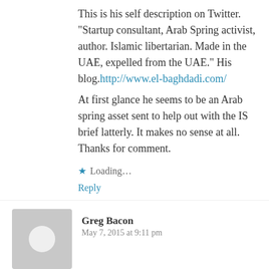This is his self description on Twitter.
"Startup consultant, Arab Spring activist, author. Islamic libertarian. Made in the UAE, expelled from the UAE." His blog.http://www.el-baghdadi.com/
At first glance he seems to be an Arab spring asset sent to help out with the IS brief latterly. It makes no sense at all. Thanks for comment.
★ Loading...
Reply
Greg Bacon
May 7, 2015 at 9:11 pm